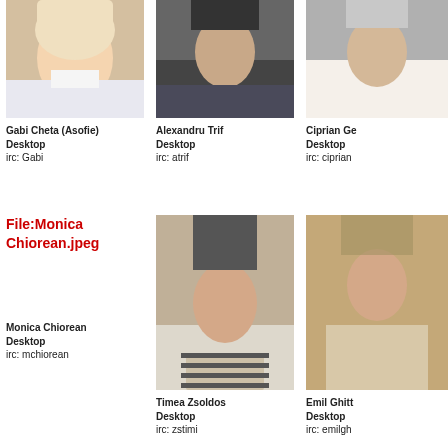[Figure (photo): Photo of Gabi Cheta (Asofie), young blonde woman]
Gabi Cheta (Asofie)
Desktop
irc: Gabi
[Figure (photo): Photo of Alexandru Trif, young man in dark sweater]
Alexandru Trif
Desktop
irc: atrif
[Figure (photo): Photo of Ciprian Ge..., partially visible]
Ciprian Ge...
Desktop
irc: ciprian...
[Figure (photo): File:Monica Chiorean.jpeg placeholder with red link text]
Monica Chiorean
Desktop
irc: mchiorean
[Figure (photo): Photo of Timea Zsoldos, woman with short dark hair and striped shirt]
Timea Zsoldos
Desktop
irc: zstimi
[Figure (photo): Photo of Emil Ghitt..., partially visible]
Emil Ghitt...
Desktop
irc: emilgh...